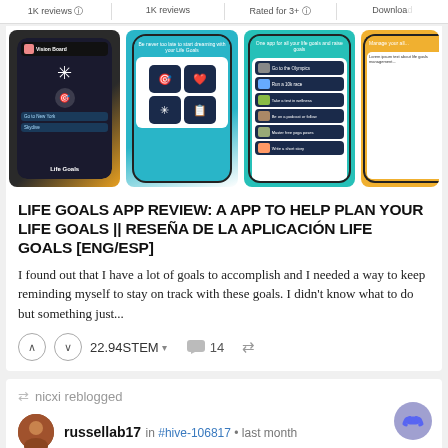1K reviews | 1K reviews | Rated for 3+ | Download
[Figure (screenshot): Four app screenshots of the Life Goals app showing different screens: a dark vision board screen with Life Goals branding, a teal screen with app features, a teal goals list screen, and a yellow/orange management screen]
LIFE GOALS APP REVIEW: A APP TO HELP PLAN YOUR LIFE GOALS || RESEÑA DE LA APLICACIÓN LIFE GOALS [ENG/ESP]
I found out that I have a lot of goals to accomplish and I needed a way to keep reminding myself to stay on track with these goals. I didn't know what to do but something just...
22.94STEM ▾    💬 14    ↩
nicxi reblogged
russellab17 in #hive-106817 • last month